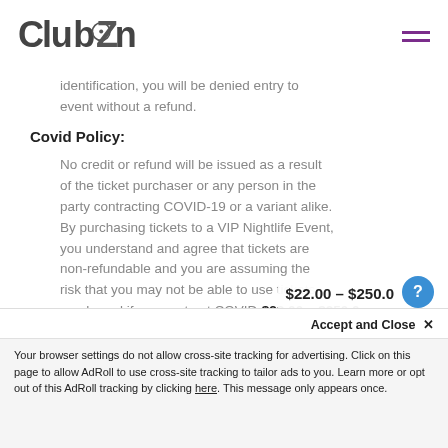ClubZone
identification, you will be denied entry to event without a refund.
Covid Policy:
No credit or refund will be issued as a result of the ticket purchaser or any person in the party contracting COVID-19 or a variant alike. By purchasing tickets to a VIP Nightlife Event, you understand and agree that tickets are non-refundable and you are assuming the risk that you may not be able to use tickets purchased if you contract COVID-
$22.00 – $250.0
Accept and Close ✕
Your browser settings do not allow cross-site tracking for advertising. Click on this page to allow AdRoll to use cross-site tracking to tailor ads to you. Learn more or opt out of this AdRoll tracking by clicking here. This message only appears once.